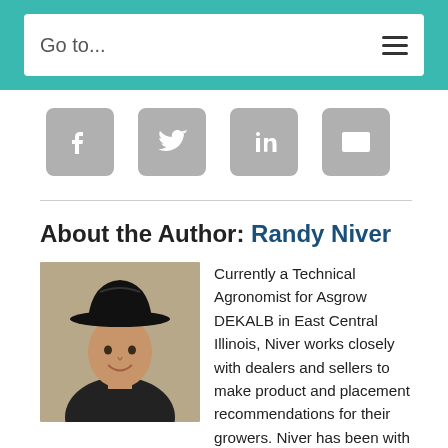Go to...
[Figure (other): Social media share icons: Facebook, Twitter, LinkedIn, Email]
About the Author: Randy Niver
[Figure (photo): Headshot photo of Randy Niver wearing a black cowboy hat]
Currently a Technical Agronomist for Asgrow DEKALB in East Central Illinois, Niver works closely with dealers and sellers to make product and placement recommendations for their growers. Niver has been with Bayer Crop Science for 15 years and has been in many aspects of the business from R&D, regulatory and commercial. He has a wife (Angie) and three boys (Luke-4, Will-3, and Colt-2) that all work together on a small family farm with corn, soybeans, wheat, grass and alfalfa hay, beef cattle, chickens, ducks, goats, and